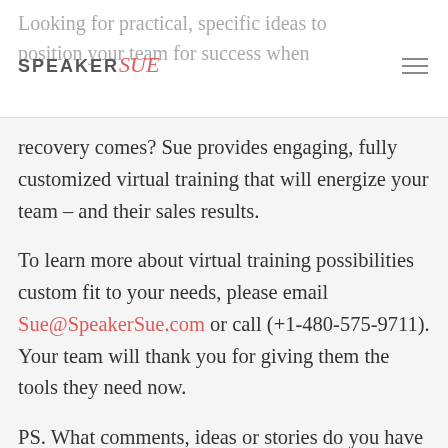Looking for practical, specific ideas to position your team for success when
[Figure (logo): SpeakerSue logo with SPEAKER in grey uppercase and Sue in red cursive script]
recovery comes? Sue provides engaging, fully customized virtual training that will energize your team – and their sales results.

To learn more about virtual training possibilities custom fit to your needs, please email Sue@SpeakerSue.com or call (+1-480-575-9711). Your team will thank you for giving them the tools they need now.

PS. What comments, ideas or stories do you have to add to today's post? You can do me